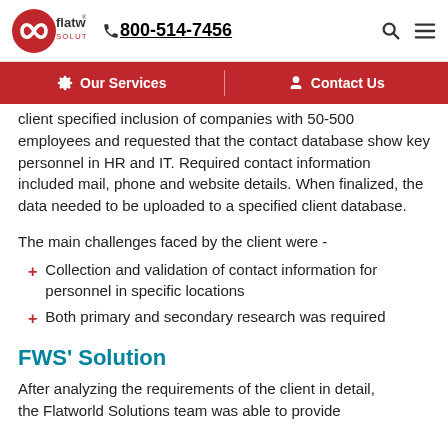flatworld solutions | 800-514-7456
Our Services | Contact Us
client specified inclusion of companies with 50-500 employees and requested that the contact database show key personnel in HR and IT. Required contact information included mail, phone and website details. When finalized, the data needed to be uploaded to a specified client database.
The main challenges faced by the client were -
Collection and validation of contact information for personnel in specific locations
Both primary and secondary research was required
FWS' Solution
After analyzing the requirements of the client in detail, the Flatworld Solutions team was able to provide